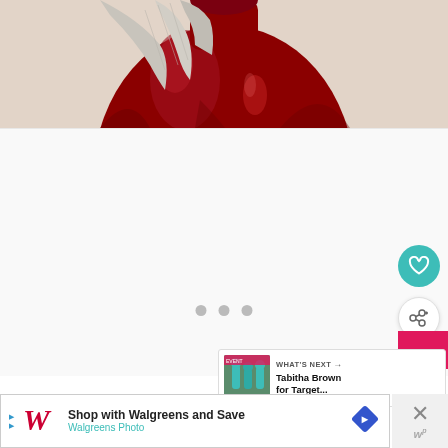[Figure (photo): A large red/burgundy ceramic vase with a round base and narrow neck, partially wrapped in a gray textile cloth. The photo is taken against a white/cream wall background. Only the upper portion of the vase and cloth are visible.]
[Figure (screenshot): A white content area with three gray pagination dots centered horizontally, and UI overlay elements including a teal heart/favorite button, a white share button with a share icon, a pink accent strip, and a 'What's Next' recommendation card showing a thumbnail and text 'Tabitha Brown for Target...']
WHAT'S NEXT → Tabitha Brown for Target...
[Figure (infographic): An advertisement banner for Walgreens. Features the Walgreens cursive W logo in red with a small 'D' triangle arrow icon, the text 'Shop with Walgreens and Save' in bold, 'Walgreens Photo' in teal, and a blue diamond direction sign icon. A close button with an X and the letter 'w' in superscript is on the right side.]